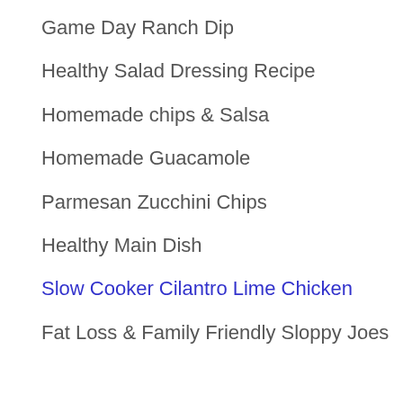Game Day Ranch Dip
Healthy Salad Dressing Recipe
Homemade chips & Salsa
Homemade Guacamole
Parmesan Zucchini Chips
Healthy Main Dish
Slow Cooker Cilantro Lime Chicken
Fat Loss & Family Friendly Sloppy Joes